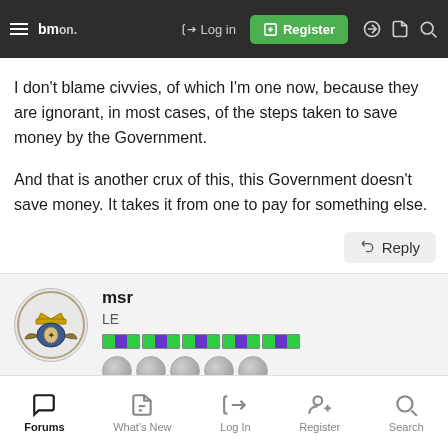Log in | Register
I don't blame civvies, of which I'm one now, because they are ignorant, in most cases, of the steps taken to save money by the Government.
And that is another crux of this, this Government doesn't save money. It takes it from one to pay for something else.
Reply
msr
LE
[Figure (illustration): User avatar with Armed Forces emblem, military medal ribbons (green and purple), and silver coins/badges]
Forums | What's New | Log In | Register | Search